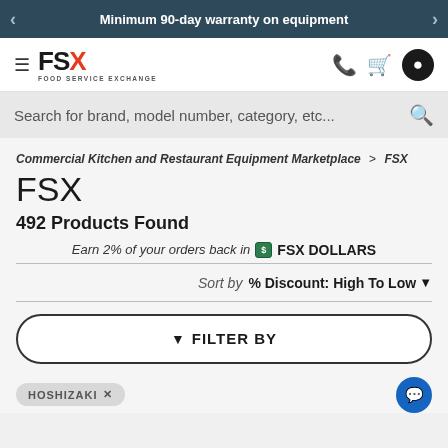Minimum 90-day warranty on equipment
[Figure (logo): FSX Food Service Exchange logo with hamburger menu icon]
Search for brand, model number, category, etc...
Commercial Kitchen and Restaurant Equipment Marketplace > FSX
FSX
492 Products Found
Earn 2% of your orders back in FSX DOLLARS
Sort by % Discount: High To Low
FILTER BY
HOSHIZAKI ×